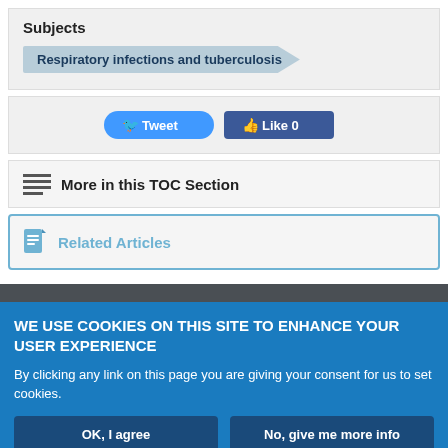Subjects
Respiratory infections and tuberculosis
[Figure (other): Tweet and Like social media buttons]
More in this TOC Section
Related Articles
WE USE COOKIES ON THIS SITE TO ENHANCE YOUR USER EXPERIENCE
By clicking any link on this page you are giving your consent for us to set cookies.
OK, I agree
No, give me more info